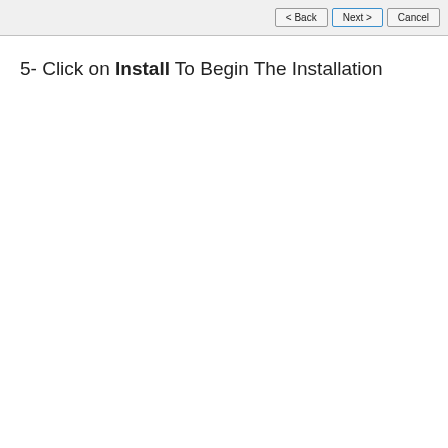[Figure (screenshot): Bottom portion of a Windows installer dialog showing three buttons: < Back, Next >, and Cancel. The Next > button has a blue border indicating it is selected/highlighted.]
5- Click on Install To Begin The Installation